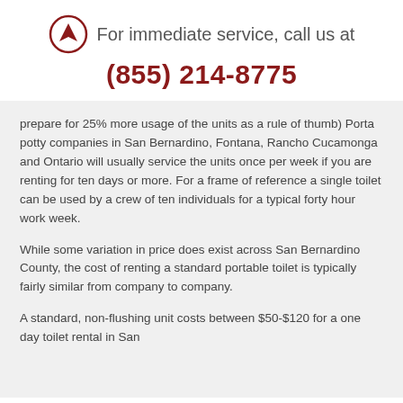[Figure (logo): Circular logo with arrow/navigation icon in dark red]
For immediate service, call us at
(855) 214-8775
prepare for 25% more usage of the units as a rule of thumb) Porta potty companies in San Bernardino, Fontana, Rancho Cucamonga and Ontario will usually service the units once per week if you are renting for ten days or more. For a frame of reference a single toilet can be used by a crew of ten individuals for a typical forty hour work week.
While some variation in price does exist across San Bernardino County, the cost of renting a standard portable toilet is typically fairly similar from company to company.
A standard, non-flushing unit costs between $50-$120 for a one day toilet rental in San